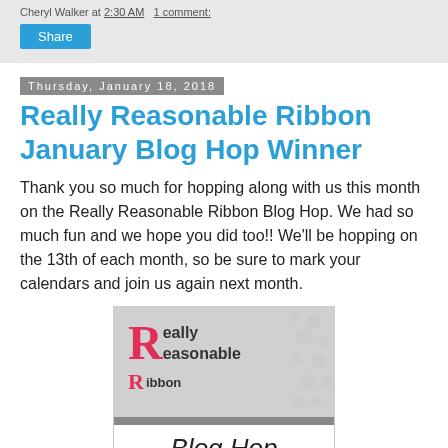Cheryl Walker at 2:30 AM   1 comment:
Share
Thursday, January 18, 2018
Really Reasonable Ribbon January Blog Hop Winner
Thank you so much for hopping along with us this month on the Really Reasonable Ribbon Blog Hop. We had so much fun and we hope you did too!! We'll be hopping on the 13th of each month, so be sure to mark your calendars and join us again next month.
[Figure (logo): Really Reasonable Ribbon Blog Hop logo: large red R with 'eally Reasonable Ribbon' text on grey polka-dot background, with 'Blog Hop' in cursive below a grey divider bar.]